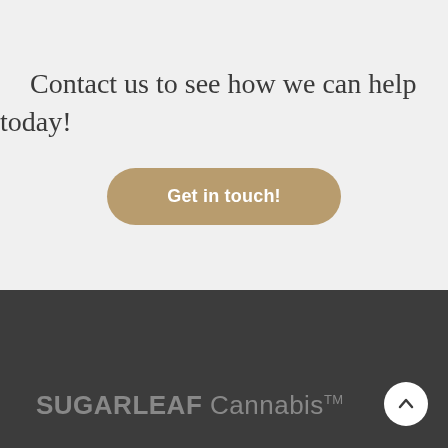Contact us to see how we can help today!
Get in touch!
[Figure (logo): SUGARLEAF Cannabis TM logo in grey text on dark background]
[Figure (other): Scroll-to-top button, white circle with upward chevron arrow]